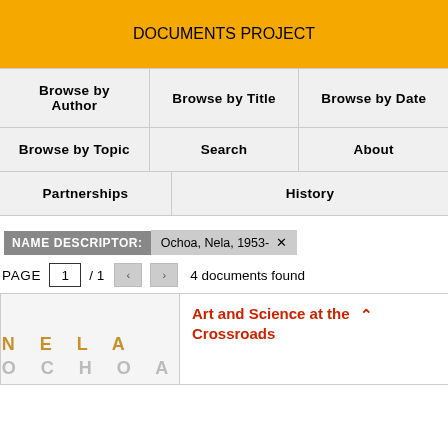DOCUMENTS PROJECT
| Browse by Author | Browse by Title | Browse by Date |
| Browse by Topic | Search | About |
| Partnerships |  | History |
NAME DESCRIPTOR: Ochoa, Nela, 1953- ×
PAGE 1 / 1 < > 4 documents found
[Figure (logo): NELA OCHOA logo text in gold and grey letters]
Art and Science at the Crossroads